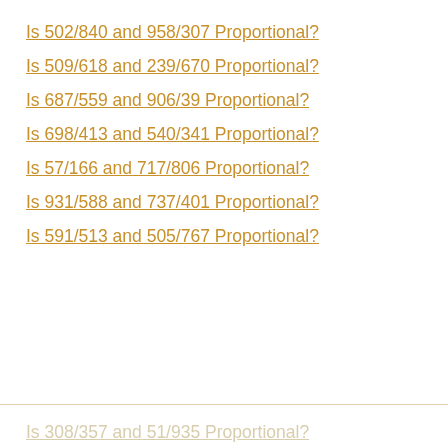Is 502/840 and 958/307 Proportional?
Is 509/618 and 239/670 Proportional?
Is 687/559 and 906/39 Proportional?
Is 698/413 and 540/341 Proportional?
Is 57/166 and 717/806 Proportional?
Is 931/588 and 737/401 Proportional?
Is 591/513 and 505/767 Proportional?
Is 308/357 and 51/935 Proportional?